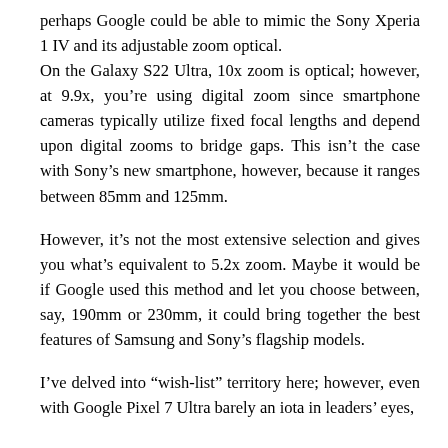perhaps Google could be able to mimic the Sony Xperia 1 IV and its adjustable zoom optical. On the Galaxy S22 Ultra, 10x zoom is optical; however, at 9.9x, you're using digital zoom since smartphone cameras typically utilize fixed focal lengths and depend upon digital zooms to bridge gaps. This isn't the case with Sony's new smartphone, however, because it ranges between 85mm and 125mm.
However, it's not the most extensive selection and gives you what's equivalent to 5.2x zoom. Maybe it would be if Google used this method and let you choose between, say, 190mm or 230mm, it could bring together the best features of Samsung and Sony's flagship models.
I've delved into “wish-list” territory here; however, even with Google Pixel 7 Ultra barely an iota in leaders' eyes,